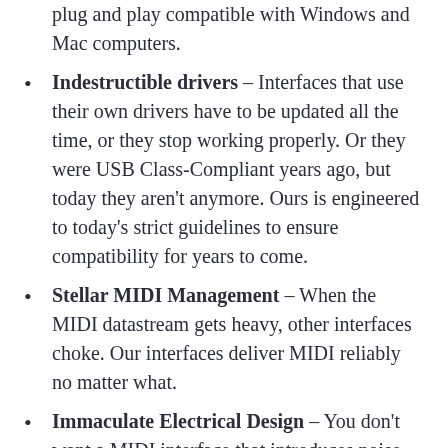plug and play compatible with Windows and Mac computers.
Indestructible drivers – Interfaces that use their own drivers have to be updated all the time, or they stop working properly. Or they were USB Class-Compliant years ago, but today they aren't anymore. Ours is engineered to today's strict guidelines to ensure compatibility for years to come.
Stellar MIDI Management – When the MIDI datastream gets heavy, other interfaces choke. Our interfaces deliver MIDI reliably no matter what.
Immaculate Electrical Design – You don't want a MIDI interface that introduces noise or even crashes your system, like